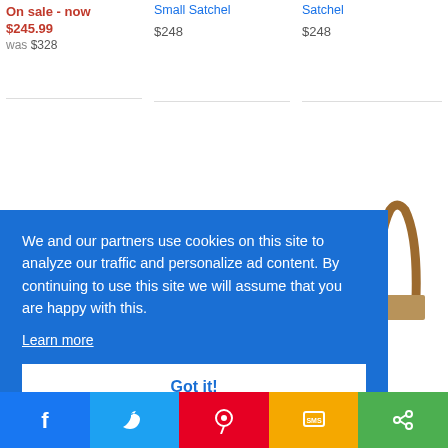On sale - now $245.99 was $328
Small Satchel
$248
Satchel
$248
[Figure (photo): Partial view of three handbag handles/tops against white background]
[Figure (screenshot): Cookie consent banner overlay on blue background with text: We and our partners use cookies on this site to analyze our traffic and personalize ad content. By continuing to use this site we will assume that you are happy with this. Learn more. Got it! button.]
9 Triple
hel
[Figure (infographic): Social share bar with Facebook, Twitter, Pinterest, SMS, and share icons]